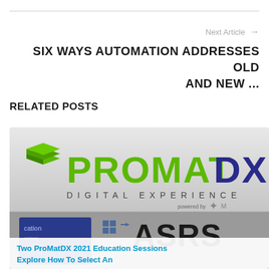Next Article →
SIX WAYS AUTOMATION ADDRESSES OLD AND NEW ...
RELATED POSTS
[Figure (photo): ProMatDX Digital Experience logo with ASRS logo below, showing trade show branding]
Two ProMatDX 2021 Education Sessions Explore How To Select An